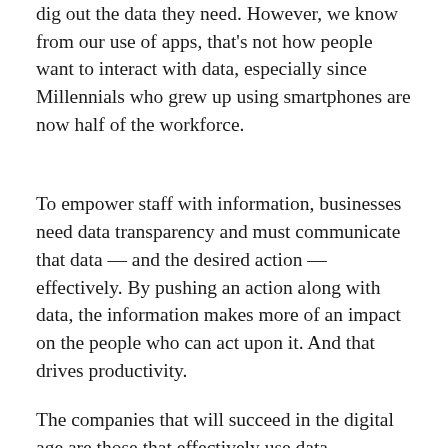dig out the data they need. However, we know from our use of apps, that's not how people want to interact with data, especially since Millennials who grew up using smartphones are now half of the workforce.
To empower staff with information, businesses need data transparency and must communicate that data — and the desired action — effectively. By pushing an action along with data, the information makes more of an impact on the people who can act upon it. And that drives productivity.
The companies that will succeed in the digital age are those that effectively use data visualization to drive a desired action.